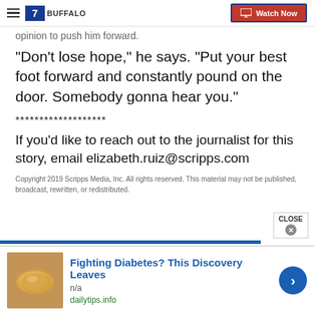7 BUFFALO — Watch Now
opinion to push him forward.
"Don't lose hope," he says. "Put your best foot forward and constantly pound on the door. Somebody gonna hear you."
*******************
If you'd like to reach out to the journalist for this story, email elizabeth.ruiz@scripps.com
Copyright 2019 Scripps Media, Inc. All rights reserved. This material may not be published, broadcast, rewritten, or redistributed.
[Figure (photo): Advertisement banner showing cashew nuts image with text: Fighting Diabetes? This Discovery Leaves, n/a, dailytips.info]